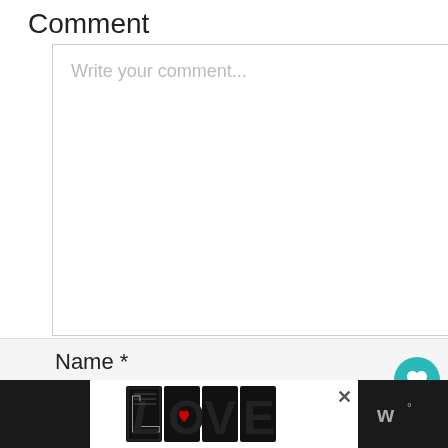Comment
Write your comment...
Name *
Name
[Figure (illustration): LOVE text logo with decorative black and white illustration patterns, with a red heart accent]
[Figure (logo): W degrees icon on dark background (app logo)]